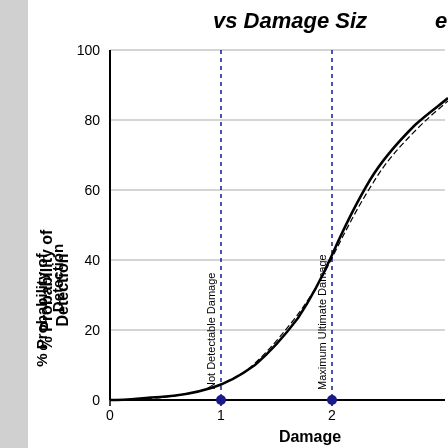[Figure (continuous-plot): A continuous plot showing % Probability of Detection vs Damage Size. The curve starts near 0 at damage=0, rises slowly, then more steeply. Two vertical dotted lines with dot markers at x=1 (Not Detectable Damage) and x=2 (Maximum Ultimate Damage) are annotated. The curve appears to be a sigmoid/exponential shape reaching ~85% at x=2.5+.]